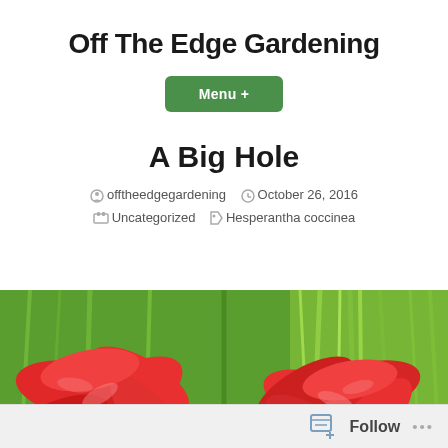Off The Edge Gardening
Menu +
A Big Hole
offtheedgegardening   October 26, 2016   Uncategorized   Hesperantha coccinea
[Figure (photo): Close-up photograph of red Hesperantha coccinea flowers with bright green grass-like foliage in the background.]
Follow ...